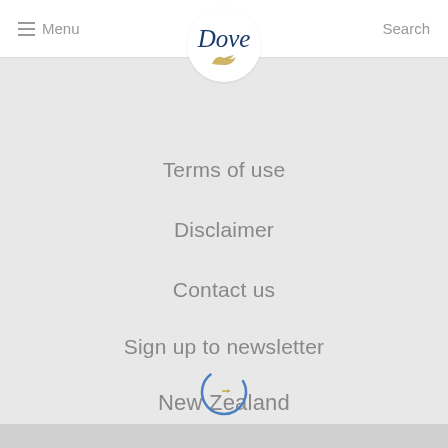Menu | Dove | Search
[Figure (logo): Dove brand logo with italic script text 'Dove' in navy blue and a golden bird/leaf shape beneath, inside a white circle]
Terms of use
Disclaimer
Contact us
Sign up to newsletter
New Zealand
[Figure (illustration): A loading spinner circle (blue arc with a small golden arrow) indicating a loading state]